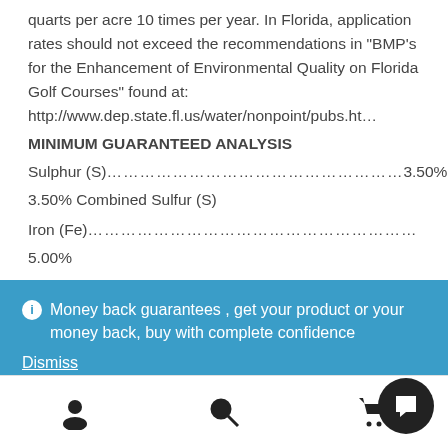quarts per acre 10 times per year. In Florida, application rates should not exceed the recommendations in “BMP’s for the Enhancement of Environmental Quality on Florida Golf Courses” found at: http://www.dep.state.fl.us/water/nonpoint/pubs.ht…
MINIMUM GUARANTEED ANALYSIS
Sulphur (S) ………………………………………………… 3.50%
3.50% Combined Sulfur (S)
Iron (Fe) …………………………………………………
5.00%
5.00% Soluble Iron (Fe)
ⓘ Money back guarantees , get your product or your money back, buy with complete confidence
Dismiss
[Figure (illustration): Bottom navigation bar with user/account icon, search icon, shopping cart icon, and a dark circular chat/support bubble button in the bottom right corner.]